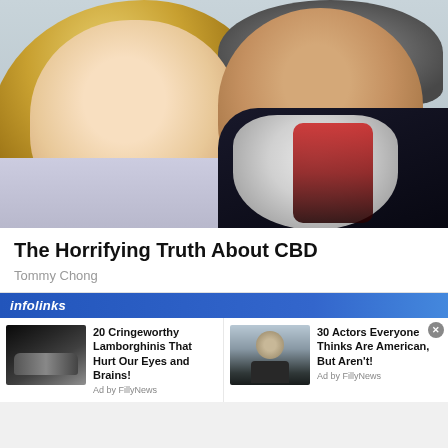[Figure (photo): Photo of a smiling blonde woman and an older man with gray hair and beard, posed together]
The Horrifying Truth About CBD
Tommy Chong
[Figure (infographic): Infolinks advertisement bar with two ad items: '20 Cringeworthy Lamborghinis That Hurt Our Eyes and Brains!' (Ad by FillyNews) with car thumbnail, and '30 Actors Everyone Thinks Are American, But Aren't!' (Ad by FillyNews) with man thumbnail]